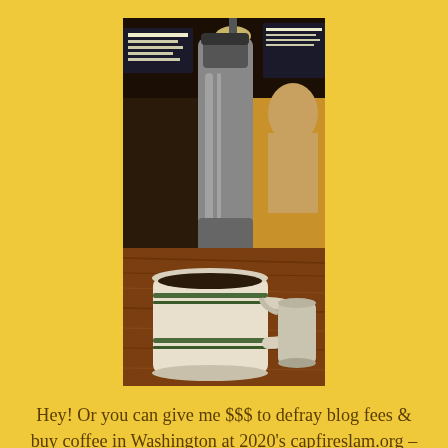[Figure (photo): A photograph of a white ceramic coffee mug with green stripes on a wooden table, with a stainless steel thermos/carafe behind it and a small cream pitcher to the right. A yellow booth/seat is visible in the background along with a coffee shop interior.]
Hey! Or you can give me $$$ to defray blog fees & buy coffee in Washington at 2020's capfireslam.org – sweet, eh? paypal.me/TOpoet